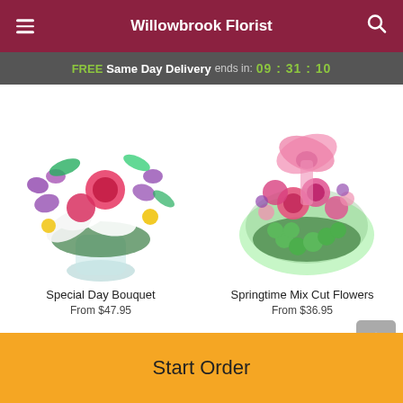Willowbrook Florist
FREE Same Day Delivery ends in: 09:31:10
[Figure (photo): Special Day Bouquet - colorful floral arrangement with pink roses, purple orchids, white lilies, and yellow flowers in a glass vase]
[Figure (photo): Springtime Mix Cut Flowers - pink and green mixed flower bouquet wrapped in decorative netting with pink bow]
Special Day Bouquet
From $47.95
Springtime Mix Cut Flowers
From $36.95
Start Order